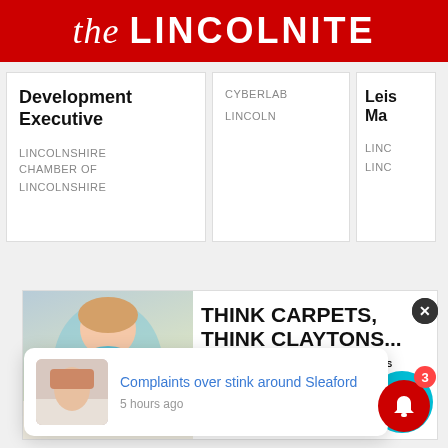the LINCOLNITE
Development Executive
LINCOLNSHIRE CHAMBER OF
LINCOLNSHIRE
CYBERLAB
LINCOLN
Leis Ma
LINC
LINC
[Figure (photo): Advertisement banner for Claytons carpets showing a girl with a puppy. Text reads: THINK CARPETS, THINK CLAYTONS... CARPETS • SOFAS • BEDS • BEDROOMS. Teal circular badge with 650 RO OF CA IN S.]
Complaints over stink around Sleaford
5 hours ago